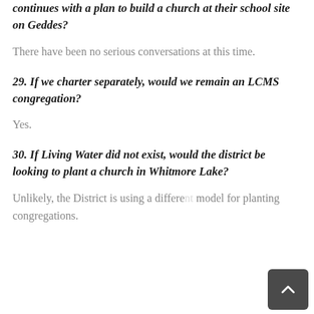continues with a plan to build a church at their school site on Geddes?
There have been no serious conversations at this time.
29. If we charter separately, would we remain an LCMS congregation?
Yes.
30. If Living Water did not exist, would the district be looking to plant a church in Whitmore Lake?
Unlikely, the District is using a different model for planting congregations.